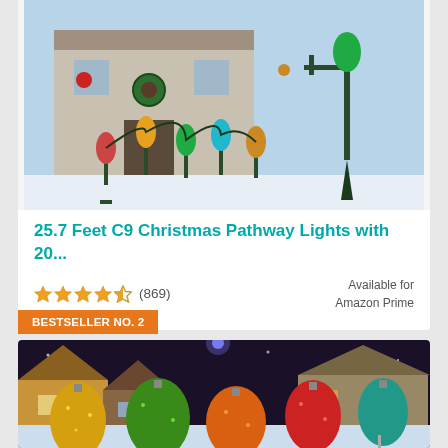[Figure (photo): Christmas pathway lights product photo showing colorful C9 bulbs on stakes in a snowy outdoor setting]
25.7 Feet C9 Christmas Pathway Lights with 20...
★★★★☆ (869) Available for Amazon Prime
BESTSELLER NO. 2
[Figure (photo): Large glittery C9 Christmas bulb pathway lights in multicolor (gold, green, red, teal) in a snowy village scene at night]